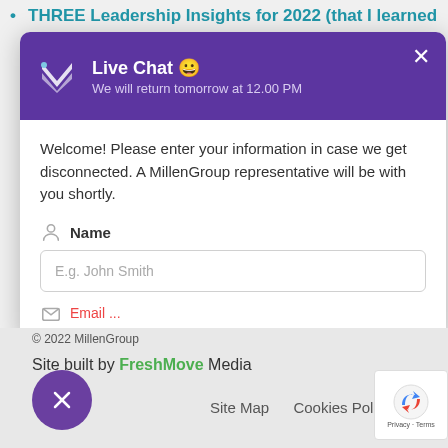THREE Leadership Insights for 2022 (that I learned
[Figure (screenshot): Live chat modal popup from MillenGroup website. Purple header with logo showing 'Live Chat 😀' and subtitle 'We will return tomorrow at 12.00 PM'. White body with welcome message and name input form field showing placeholder 'E.g. John Smith'. Partial email field visible at bottom.]
Welcome! Please enter your information in case we get disconnected. A MillenGroup representative will be with you shortly.
© 2022 MillenGroup
Site built by FreshMove Media
Site Map    Cookies Policy